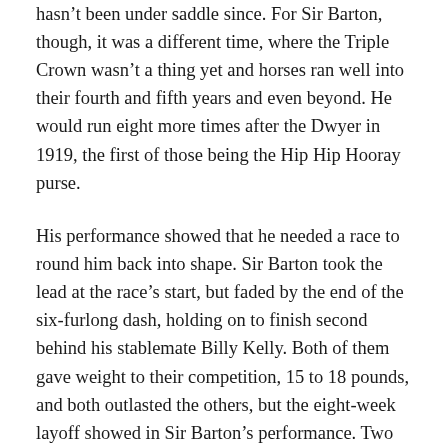hasn't been under saddle since. For Sir Barton, though, it was a different time, where the Triple Crown wasn't a thing yet and horses ran well into their fourth and fifth years and even beyond. He would run eight more times after the Dwyer in 1919, the first of those being the Hip Hip Hooray purse.
His performance showed that he needed a race to round him back into shape. Sir Barton took the lead at the race's start, but faded by the end of the six-furlong dash, holding on to finish second behind his stablemate Billy Kelly. Both of them gave weight to their competition, 15 to 18 pounds, and both outlasted the others, but the eight-week layoff showed in Sir Barton's performance. Two days later, though, he would be back on the track for the Potomac Handicap, also at Havre de Grace.